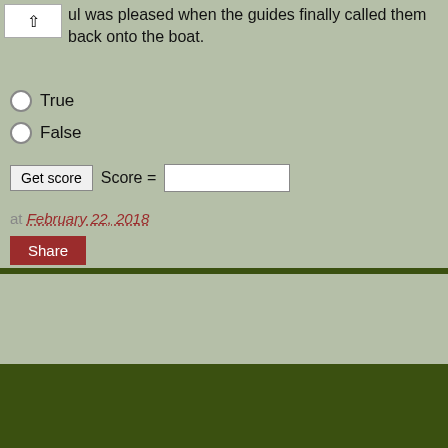ul was pleased when the guides finally called them back onto the boat.
True
False
Get score  Score =
at February 22, 2018
Share
Home
View web version